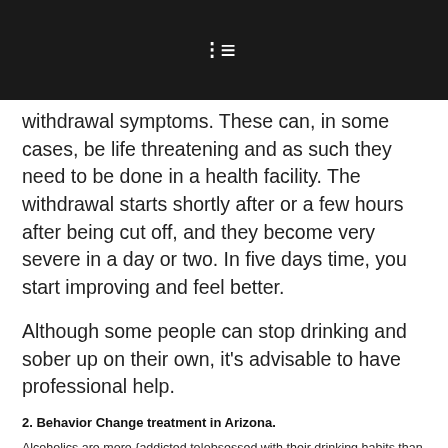☰
withdrawal symptoms. These can, in some cases, be life threatening and as such they need to be done in a health facility. The withdrawal starts shortly after or a few hours after being cut off, and they become very severe in a day or two. In five days time, you start improving and feel better.
Although some people can stop drinking and sober up on their own, it's advisable to have professional help.
2. Behavior Change treatment in Arizona.
Alcoholics are more {addicted to|obsessed with their drinking habits than the contents of